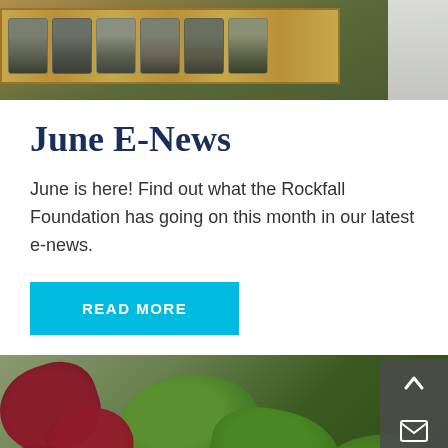[Figure (photo): Top photo showing rock core samples in a wooden tray, partially cropped]
June E-News
June is here! Find out what the Rockfall Foundation has going on this month in our latest e-news.
READ MORE
[Figure (photo): Bottom photo showing dark red/maroon trillium flowers with large green leaves on a forest floor background, partially cropped. Navigation buttons (up arrow and email envelope) visible in bottom right corner.]